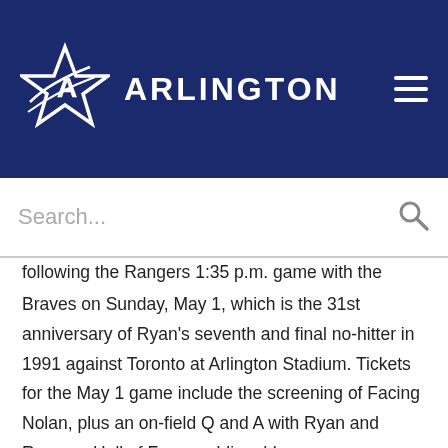[Figure (logo): City of Arlington Texas star logo with text ARLINGTON on dark navy background header]
Search...
following the Rangers 1:35 p.m. game with the Atlanta Braves on Sunday, May 1, which is the 31st anniversary of Ryan's seventh and final no-hitter in 1991 against Toronto at Arlington Stadium. Tickets for the May 1 game include the screening of Facing Nolan, plus an on-field Q and A with Ryan and Rangers Hall of Fame public address announcer Chuck Morgan.
Other Texas Rangers 50th anniversary initiatives include:
Dedicated Web page: The Rangers will launch a dedicated web page...